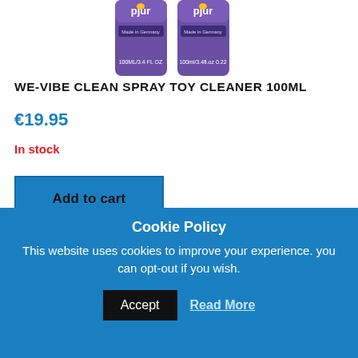[Figure (photo): Product image showing two pjur bottles (100ml/3.4 FL OZ) with purple labels, partially cropped at the top]
WE-VIBE CLEAN SPRAY TOY CLEANER 100ML
€19.95
In stock
Add to cart
[Figure (photo): A smartphone displaying a pink We-Vibe app screen with logo]
Cookie Policy
This website uses cookies to improve your experience. you can opt-out if you wish.
Accept
Read More